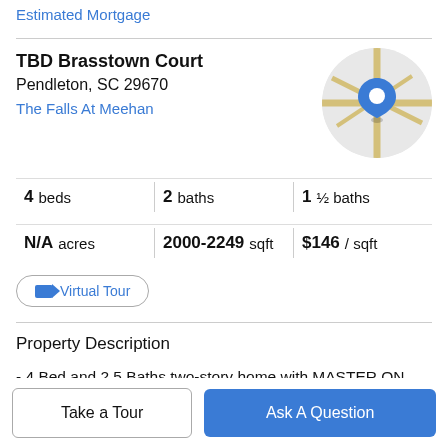Estimated Mortgage
TBD Brasstown Court
Pendleton, SC 29670
The Falls At Meehan
[Figure (map): Circular map thumbnail showing street map with blue location pin marker]
4 beds | 2 baths | 1 ½ baths
N/A acres | 2000-2249 sqft | $146 / sqft
Virtual Tour
Property Description
- 4 Bed and 2.5 Baths two-story home with MASTER ON MAIN. LVP flooring throughout first floor, stainless steel
Take a Tour
Ask A Question